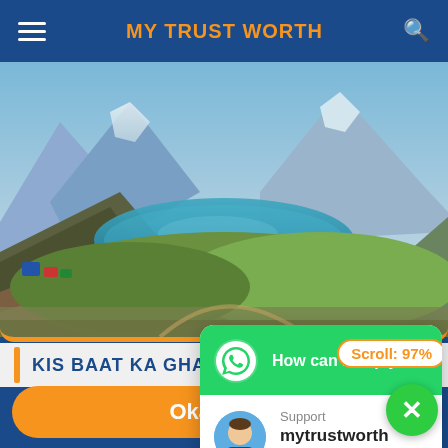MY TRUST WORTH
[Figure (photo): Mountain landscape with a turquoise alpine lake reflecting snow-capped peaks, green hills, and tents in the foreground.]
KIS BAAT KA GHAM HAY
'My Trust Worth' uses c... experience on our websi...
[Figure (screenshot): WhatsApp chat widget popup. Top green section: WhatsApp logo icon and text 'How can I help you?' with orange badge 'Scroll: 97%'. Bottom white section: avatar of a business person, 'Support' label, username 'mytrustworth', green dot with 'Online' status.]
Okay!